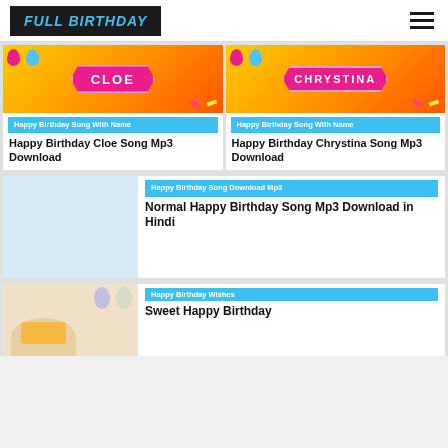FULL BIRTHDAY
[Figure (illustration): Birthday card image for Cloe with pink ribbon, balloons, confetti on yellow-orange background]
Happy Birthday Song With Name
Happy Birthday Cloe Song Mp3 Download
[Figure (illustration): Birthday card image for Chrystina with pink ribbon, balloons, confetti on yellow-orange background]
Happy Birthday Song With Name
Happy Birthday Chrystina Song Mp3 Download
[Figure (illustration): Light blue placeholder image for Normal Happy Birthday Song]
Happy Birthday Song Download Mp3
Normal Happy Birthday Song Mp3 Download in Hindi
[Figure (photo): Photo of birthday cake with balloons]
Happy Birthday Wishes
Sweet Happy Birthday